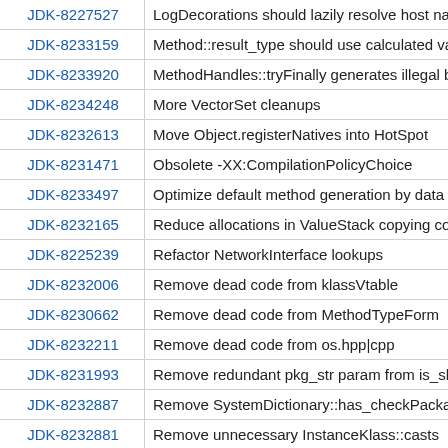| ID | Description |
| --- | --- |
| JDK-8227527 | LogDecorations should lazily resolve host nam |
| JDK-8233159 | Method::result_type should use calculated val |
| JDK-8233920 | MethodHandles::tryFinally generates illegal by |
| JDK-8234248 | More VectorSet cleanups |
| JDK-8232613 | Move Object.registerNatives into HotSpot |
| JDK-8231471 | Obsolete -XX:CompilationPolicyChoice |
| JDK-8233497 | Optimize default method generation by data s |
| JDK-8232165 | Reduce allocations in ValueStack copying com |
| JDK-8225239 | Refactor NetworkInterface lookups |
| JDK-8232006 | Remove dead code from klassVtable |
| JDK-8230662 | Remove dead code from MethodTypeForm |
| JDK-8232211 | Remove dead code from os.hpp|cpp |
| JDK-8231993 | Remove redundant pkg_str param from is_sha |
| JDK-8232887 | Remove SystemDictionary::has_checkPackag |
| JDK-8232881 | Remove unnecessary InstanceKlass::casts |